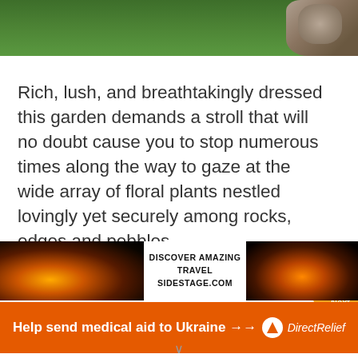[Figure (photo): Top portion of a lush green garden with grass and rocks visible at upper right]
Rich, lush, and breathtakingly dressed this garden demands a stroll that will no doubt cause you to stop numerous times along the way to gaze at the wide array of floral plants nestled lovingly yet securely among rocks, edges and pebbles.
[Figure (infographic): Orange circular Next button with chevron arrow]
[Figure (infographic): Advertisement banner: DISCOVER AMAZING TRAVEL SIDESTAGE.COM with sunset landscape images on left and right]
[Figure (infographic): Orange advertisement bar: Help send medical aid to Ukraine >> with Direct Relief logo]